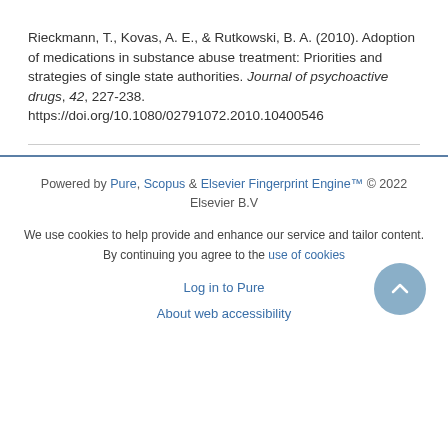Rieckmann, T., Kovas, A. E., & Rutkowski, B. A. (2010). Adoption of medications in substance abuse treatment: Priorities and strategies of single state authorities. Journal of psychoactive drugs, 42, 227-238. https://doi.org/10.1080/02791072.2010.10400546
Powered by Pure, Scopus & Elsevier Fingerprint Engine™ © 2022 Elsevier B.V
We use cookies to help provide and enhance our service and tailor content. By continuing you agree to the use of cookies
Log in to Pure
About web accessibility